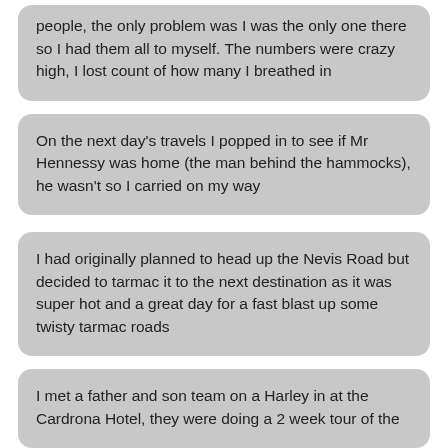people, the only problem was I was the only one there so I had them all to myself. The numbers were crazy high, I lost count of how many I breathed in
On the next day's travels I popped in to see if Mr Hennessy was home (the man behind the hammocks), he wasn't so I carried on my way
I had originally planned to head up the Nevis Road but decided to tarmac it to the next destination as it was super hot and a great day for a fast blast up some twisty tarmac roads
I met a father and son team on a Harley in at the Cardrona Hotel, they were doing a 2 week tour of the